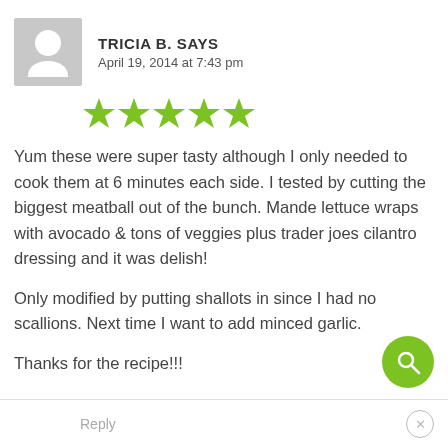TRICIA B. SAYS
April 19, 2014 at 7:43 pm
[Figure (illustration): Five green star rating icons]
Yum these were super tasty although I only needed to cook them at 6 minutes each side. I tested by cutting the biggest meatball out of the bunch. Mande lettuce wraps with avocado & tons of veggies plus trader joes cilantro dressing and it was delish!

Only modified by putting shallots in since I had no scallions. Next time I want to add minced garlic.

Thanks for the recipe!!!